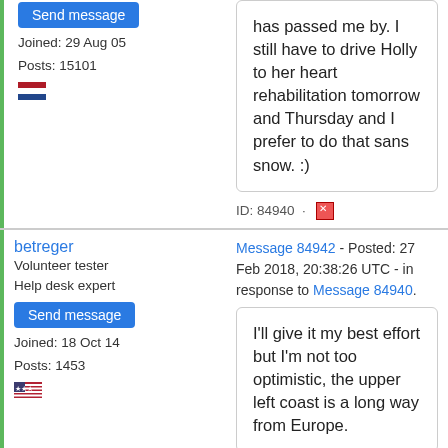has passed me by. I still have to drive Holly to her heart rehabilitation tomorrow and Thursday and I prefer to do that sans snow. :)
Send message
Joined: 29 Aug 05
Posts: 15101
ID: 84940
betreger
Volunteer tester
Help desk expert
Send message
Joined: 18 Oct 14
Posts: 1453
Message 84942 - Posted: 27 Feb 2018, 20:38:26 UTC - in response to Message 84940.
I'll give it my best effort but I'm not too optimistic, the upper left coast is a long way from Europe.
ID: 84942
Pickled Onion Monster Munch
Message 84943 - Posted: 27 Feb 2018, 20:50:05 UTC